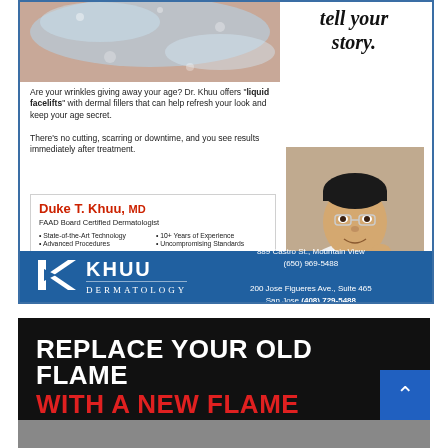[Figure (photo): Top portion of a dermatology advertisement showing a close-up skin/water image on the left and italic text 'tell your story.' on the right]
Are your wrinkles giving away your age? Dr. Khuu offers "liquid facelifts" with dermal fillers that can help refresh your look and keep your age secret. There's no cutting, scarring or downtime, and you see results immediately after treatment.
[Figure (photo): Portrait photo of Dr. Duke T. Khuu, MD, wearing a white coat and bow tie, smiling]
Duke T. Khuu, MD
FAAD Board Certified Dermatologist
• State-of-the-Art Technology  • 10+ Years of Experience
• Advanced Procedures  • Uncompromising Standards
[Figure (logo): Khuu Dermatology logo with K icon in white on blue background, text KHUU DERMATOLOGY]
889 Castro St., Mountain View
(650) 969-5488
200 Jose Figueres Ave., Suite 465
San Jose (408) 729-5488
www.khuudermatology.com
REPLACE YOUR OLD FLAME
WITH A NEW FLAME